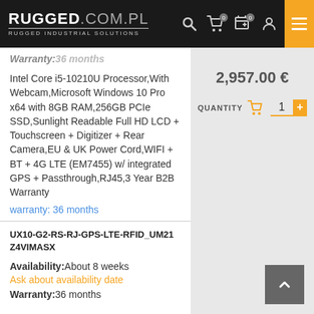RUGGED.COM.PL RUGGED INDUSTRIAL SOLUTIONS
Warranty: 36 months
Intel Core i5-10210U Processor,With Webcam,Microsoft Windows 10 Pro x64 with 8GB RAM,256GB PCIe SSD,Sunlight Readable Full HD LCD + Touchscreen + Digitizer + Rear Camera,EU & UK Power Cord,WIFI + BT + 4G LTE (EM7455) w/ integrated GPS + Passthrough,RJ45,3 Year B2B Warranty
warranty: 36 months
2,957.00 €
QUANTITY 1
UX10-G2-RS-RJ-GPS-LTE-RFID_UM21Z4VIMASX
Availability: About 8 weeks
Ask about availability date
Warranty: 36 months